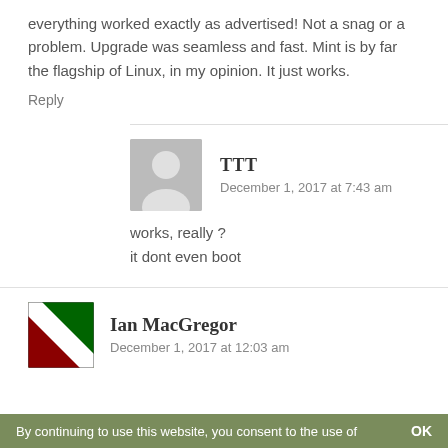everything worked exactly as advertised! Not a snag or a problem. Upgrade was seamless and fast. Mint is by far the flagship of Linux, in my opinion. It just works.
Reply
TTT
December 1, 2017 at 7:43 am
works, really ?
it dont even boot
Ian MacGregor
December 1, 2017 at 12:03 am
By continuing to use this website, you consent to the use of    OK